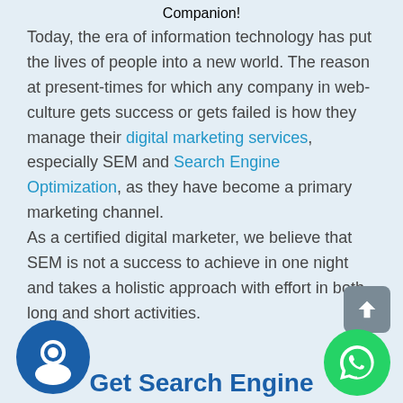Companion!
Today, the era of information technology has put the lives of people into a new world. The reason at present-times for which any company in web-culture gets success or gets failed is how they manage their digital marketing services, especially SEM and Search Engine Optimization, as they have become a primary marketing channel.
As a certified digital marketer, we believe that SEM is not a success to achieve in one night and takes a holistic approach with effort in both long and short activities.
[Figure (illustration): Blue circular chat icon at bottom left]
[Figure (illustration): Green circular WhatsApp icon at bottom right]
Get Search Engine